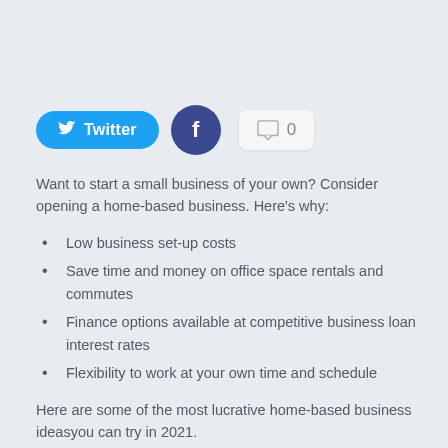[Figure (other): Social sharing buttons: Twitter (blue pill button), Facebook (dark blue circle button), and a comment count button showing 0]
Want to start a small business of your own? Consider opening a home-based business. Here's why:
Low business set-up costs
Save time and money on office space rentals and commutes
Finance options available at competitive business loan interest rates
Flexibility to work at your own time and schedule
Here are some of the most lucrative home-based business ideasyou can try in 2021.